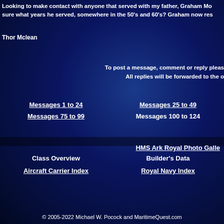Looking to make contact with anyone that served with my father, Graham Mo... sure what years he served, somewhere in the 50's and 60's? Graham now res...
Thor Mclean
To post a message, comment or reply pleas... All replies will be forwarded to the o...
Messages 1 to 24
Messages 25 to 49
Messages 75 to 99
Messages 100 to 124
HMS Ark Royal Photo Galle...
Class Overview
Builder's Data
Aircraft Carrier Index
Royal Navy Index
© 2005-2022 Michael W. Pocock and MaritimeQuest.com